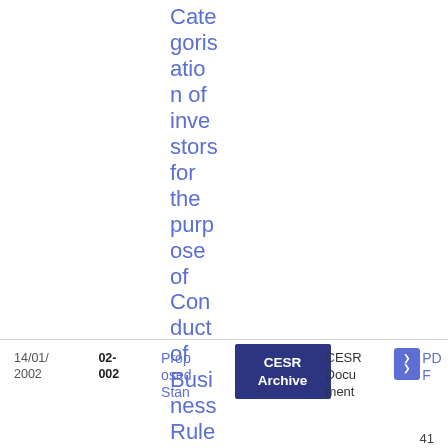Categorisation of investors for the purpose of Conduct of Business Rules
| Date | ID | Title | Archive | Document Type | Format | Page |
| --- | --- | --- | --- | --- | --- | --- |
| 14/01/2002 | 02-002 | Proposed Stan | CESR Archive | CESR Document | PDF | 41 |